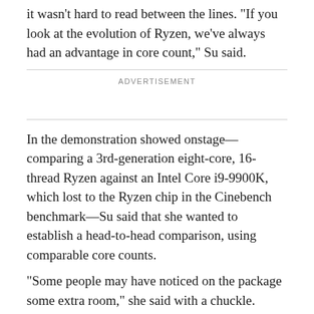it wasn't hard to read between the lines. “If you look at the evolution of Ryzen, we’ve always had an advantage in core count,” Su said.
ADVERTISEMENT
In the demonstration showed onstage—comparing a 3rd-generation eight-core, 16-thread Ryzen against an Intel Core i9-9900K, which lost to the Ryzen chip in the Cinebench benchmark—Su said that she wanted to establish a head-to-head comparison, using comparable core counts.
“Some people may have noticed on the package some extra room,” she said with a chuckle. “There is some extra room on that package and I think you might expect we will have more than eight cores.”